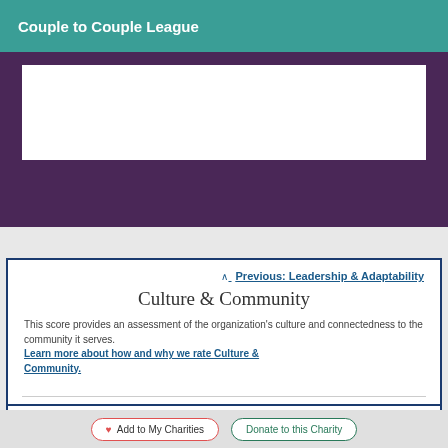Couple to Couple League
Previous: Leadership & Adaptability
Culture & Community
This score provides an assessment of the organization's culture and connectedness to the community it serves. Learn more about how and why we rate Culture & Community.
Culture & Community Score
Add to My Charities
Donate to this Charity